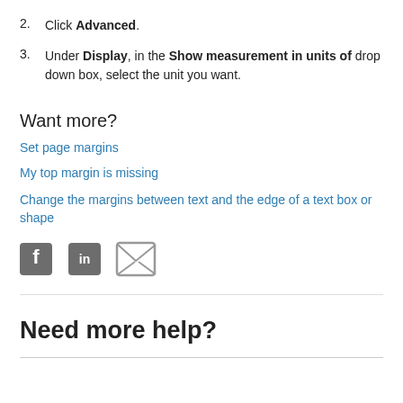2. Click Advanced.
3. Under Display, in the Show measurement in units of drop down box, select the unit you want.
Want more?
Set page margins
My top margin is missing
Change the margins between text and the edge of a text box or shape
[Figure (other): Social sharing icons: Facebook, LinkedIn, Email]
Need more help?